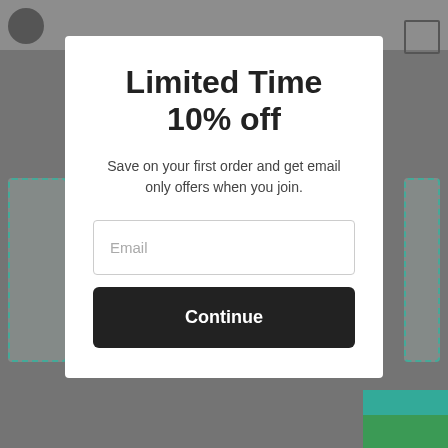Limited Time 10% off
Save on your first order and get email only offers when you join.
Email
Continue